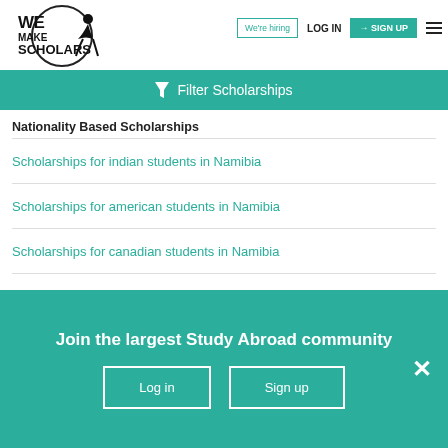[Figure (logo): We Make Scholars logo with silhouette figure and circular design]
We're hiring | LOG IN | SIGN UP
Filter Scholarships
Nationality Based Scholarships
Scholarships for indian students in Namibia
Scholarships for american students in Namibia
Scholarships for canadian students in Namibia
Scholarships for australian students in Namibia
Scholarships for british students in Namibia
Join the largest Study Abroad community
Log in | Sign up